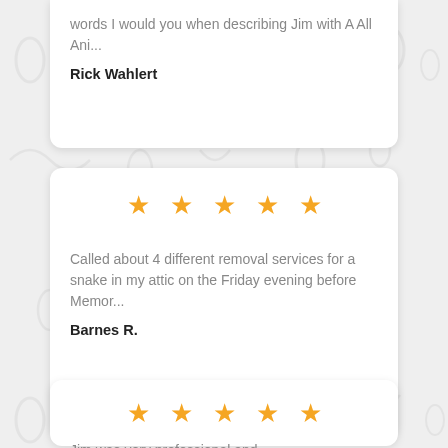words I would you when describing Jim with A All Ani...
Rick Wahlert
[Figure (other): 5 orange stars rating]
Called about 4 different removal services for a snake in my attic on the Friday evening before Memor...
Barnes R.
[Figure (other): 5 orange stars rating]
Jim was very professional and...